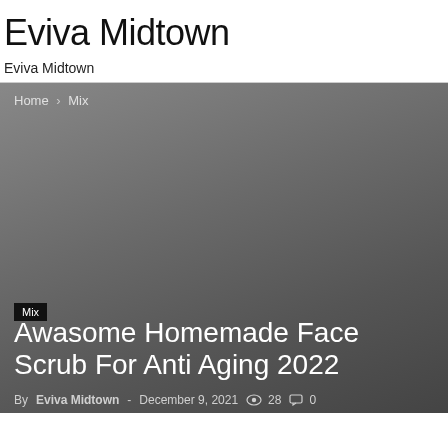Eviva Midtown
Eviva Midtown
Home › Mix
Mix
Awasome Homemade Face Scrub For Anti Aging 2022
By Eviva Midtown - December 9, 2021  28  0